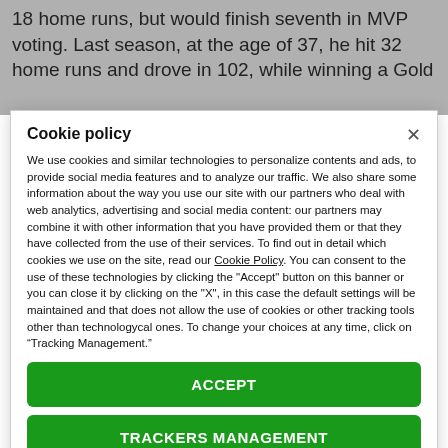18 home runs, but would finish seventh in MVP voting. Last season, at the age of 37, he hit 32 home runs and drove in 102, while winning a Gold
Cookie policy
We use cookies and similar technologies to personalize contents and ads, to provide social media features and to analyze our traffic. We also share some information about the way you use our site with our partners who deal with web analytics, advertising and social media content: our partners may combine it with other information that you have provided them or that they have collected from the use of their services. To find out in detail which cookies we use on the site, read our Cookie Policy. You can consent to the use of these technologies by clicking the "Accept" button on this banner or you can close it by clicking on the "X", in this case the default settings will be maintained and that does not allow the use of cookies or other tracking tools other than technologycal ones. To change your choices at any time, click on “Tracking Management.”
ACCEPT
TRACKERS MANAGEMENT
Show vendors | Show purposes